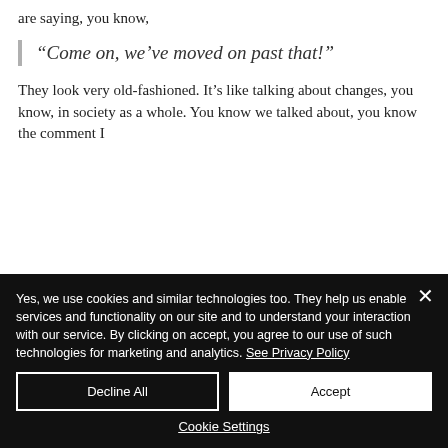are saying, you know,
“Come on, we’ve moved on past that!”
They look very old-fashioned. It’s like talking about changes, you know, in society as a whole. You know we talked about, you know the comment I
Yes, we use cookies and similar technologies too. They help us enable services and functionality on our site and to understand your interaction with our service. By clicking on accept, you agree to our use of such technologies for marketing and analytics. See Privacy Policy
Decline All
Accept
Cookie Settings